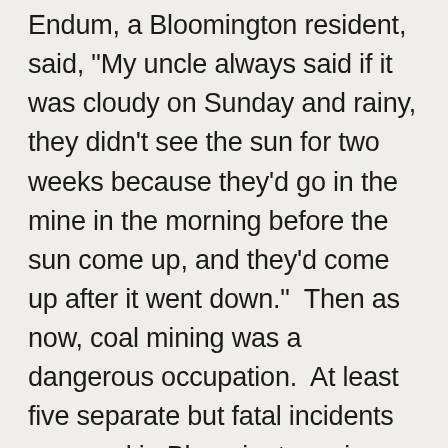Endum, a Bloomington resident, said, "My uncle always said if it was cloudy on Sunday and rainy, they didn't see the sun for two weeks because they'd go in the mine in the morning before the sun come up, and they'd come up after it went down."  Then as now, coal mining was a dangerous occupation.  At least five separate but fatal incidents occurred in Bloomington mines from 1883 to 1909.  Interestingly, Illinois was the first state to pass legislation providing for mine firefighting and rescue stations in coal mining centers.